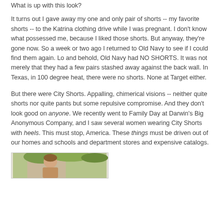What is up with this look?
It turns out I gave away my one and only pair of shorts -- my favorite shorts -- to the Katrina clothing drive while I was pregnant. I don't know what possessed me, because I liked those shorts. But anyway, they're gone now. So a week or two ago I returned to Old Navy to see if I could find them again. Lo and behold, Old Navy had NO SHORTS. It was not merely that they had a few pairs stashed away against the back wall. In Texas, in 100 degree heat, there were no shorts. None at Target either.
But there were City Shorts. Appalling, chimerical visions -- neither quite shorts nor quite pants but some repulsive compromise. And they don't look good on anyone. We recently went to Family Day at Darwin's Big Anonymous Company, and I saw several women wearing City Shorts with heels. This must stop, America. These things must be driven out of our homes and schools and department stores and expensive catalogs.
[Figure (photo): Partial photo showing a person outdoors with greenery in background]